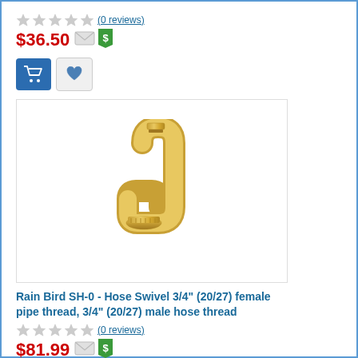(0 reviews) $36.50
[Figure (other): Add to cart (blue button) and wishlist (heart) buttons]
[Figure (photo): Photo of Rain Bird SH-0 Hose Swivel brass fitting, 3/4 inch elbow connector]
Rain Bird SH-0 - Hose Swivel 3/4" (20/27) female pipe thread, 3/4" (20/27) male hose thread
(0 reviews) $81.99